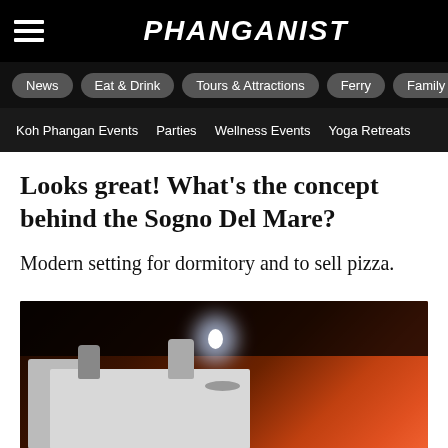PHANGANIST
News
Eat & Drink
Tours & Attractions
Ferry
Family
Koh Phangan Events
Parties
Wellness Events
Yoga Retreats
Looks great! What’s the concept behind the Sogno Del Mare?
Modern setting for dormitory and to sell pizza.
[Figure (photo): Interior of Sogno Del Mare restaurant showing white tables and chairs set with decorative cups and plates, dark ceiling, and warm red/orange ambient lighting in the background.]